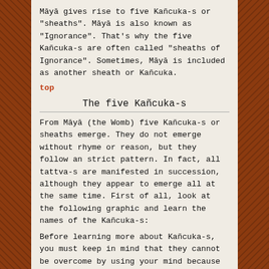Māyā gives rise to five Kañcuka-s or "sheaths". Māyā is also known as "Ignorance". That's why the five Kañcuka-s are often called "sheaths of Ignorance". Sometimes, Māyā is included as another sheath or Kañcuka.
top
The five Kañcuka-s
From Māyā (the Womb) five Kañcuka-s or sheaths emerge. They do not emerge without rhyme or reason, but they follow an strict pattern. In fact, all tattva-s are manifested in succession, although they appear to emerge all at the same time. First of all, look at the following graphic and learn the names of the Kañcuka-s:
Before learning more about Kañcuka-s, you must keep in mind that they cannot be overcome by using your mind because they are above the mind. There are other